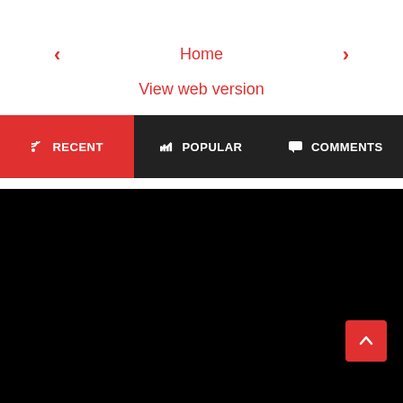‹
Home
›
View web version
RECENT | POPULAR | COMMENTS
[Figure (screenshot): Black section with back-to-top button in red at bottom right]